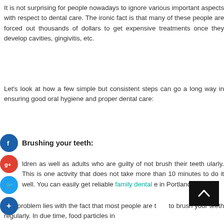It is not surprising for people nowadays to ignore various important aspects with respect to dental care. The ironic fact is that many of these people are forced out thousands of dollars to get expensive treatments once they develop cavities, gingivitis, etc.
Let's look at how a few simple but consistent steps can go a long way in ensuring good oral hygiene and proper dental care:
Brushing your teeth:
ldren as well as adults who are guilty of not brush their teeth ularly. This is one activity that does not take more than 10 minutes to do it well. You can easily get reliable family dental e in Portland.
The problem lies with the fact that most people are t to brush your teeth regularly. In due time, food particles in